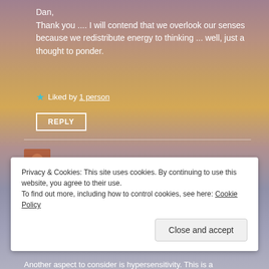Dan,
Thank you .... I will contend that we overlook our senses because we redistribute energy to thinking ... well, just a thought to ponder.
★ Liked by 1 person
REPLY
Eilene Lyon
April 3, 2021 at 9:33 pm
Privacy & Cookies: This site uses cookies. By continuing to use this website, you agree to their use.
To find out more, including how to control cookies, see here: Cookie Policy
Close and accept
Another aspect to consider is hypersensitivity. This is a